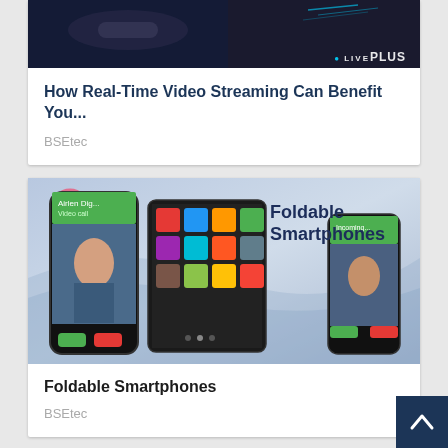[Figure (screenshot): Dark-themed banner image for video streaming article with 'LIVE PLUS' text overlay]
How Real-Time Video Streaming Can Benefit You...
BSEtec
[Figure (illustration): Promotional image showing foldable smartphones concept with curved phones and 'Foldable Smartphones' text]
Foldable Smartphones
BSEtec